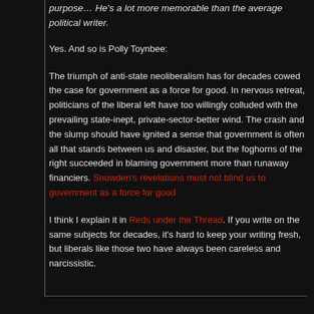purpose… He's a lot more memorable than the average political writer.
Yes. And so is Polly Toynbee:
The triumph of anti-state neoliberalism has for decades cowed the case for government as a force for good. In nervous retreat, politicians of the liberal left have too willingly colluded with the prevailing state-inept, private-sector-better wind. The crash and the slump should have ignited a sense that government is often all that stands between us and disaster, but the foghorns of the right succeeded in blaming government more than runaway financiers. Snowden's revelations must not blind us to government as a force for good
I think I explain it in Reds under the Thread. If you write on the same subjects for decades, it's hard to keep your writing fresh, but liberals like those two have always been careless and narcissistic.